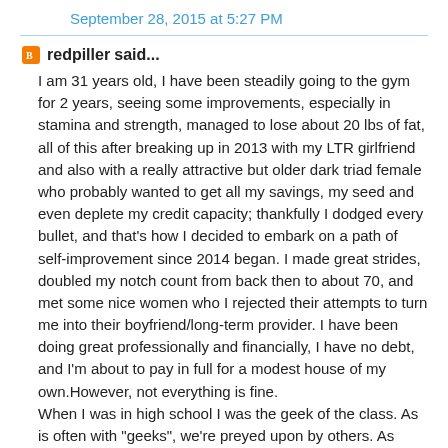September 28, 2015 at 5:27 PM
redpiller said...
I am 31 years old, I have been steadily going to the gym for 2 years, seeing some improvements, especially in stamina and strength, managed to lose about 20 lbs of fat, all of this after breaking up in 2013 with my LTR girlfriend and also with a really attractive but older dark triad female who probably wanted to get all my savings, my seed and even deplete my credit capacity; thankfully I dodged every bullet, and that's how I decided to embark on a path of self-improvement since 2014 began. I made great strides, doubled my notch count from back then to about 70, and met some nice women who I rejected their attempts to turn me into their boyfriend/long-term provider. I have been doing great professionally and financially, I have no debt, and I'm about to pay in full for a modest house of my own.However, not everything is fine.
When I was in high school I was the geek of the class. As is often with "geeks", we're preyed upon by others. As such, I think I have scars that I haven't been able to move